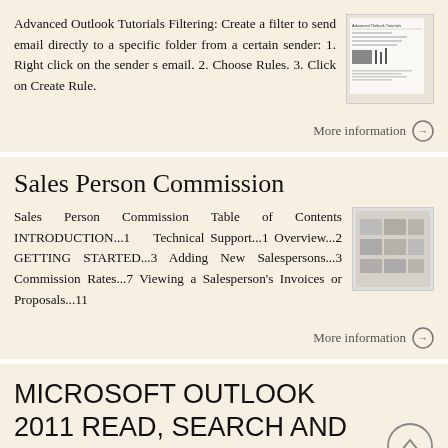Advanced Outlook Tutorials Filtering: Create a filter to send email directly to a specific folder from a certain sender: 1. Right click on the sender s email. 2. Choose Rules. 3. Click on Create Rule.
[Figure (screenshot): Thumbnail screenshot of Advanced Outlook Tutorials document]
More information →
Sales Person Commission
Sales Person Commission Table of Contents INTRODUCTION...1 Technical Support...1 Overview...2 GETTING STARTED...3 Adding New Salespersons...3 Commission Rates...7 Viewing a Salesperson's Invoices or Proposals...11
[Figure (screenshot): Thumbnail screenshot of Sales Person Commission document, blurred]
More information →
MICROSOFT OUTLOOK 2011 READ, SEARCH AND PRINT E-MAILS